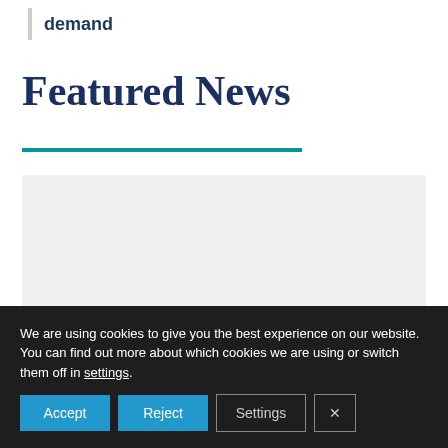demand
Featured News
[Figure (other): Light gray image placeholder rectangle]
We are using cookies to give you the best experience on our website.
You can find out more about which cookies we are using or switch them off in settings.